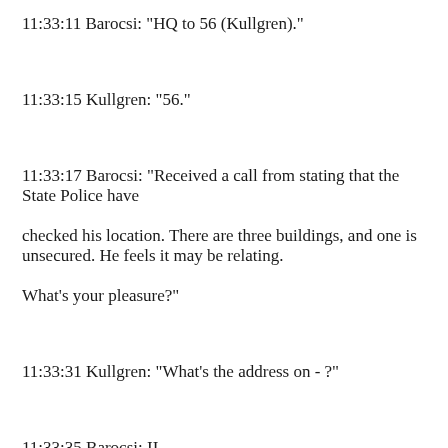11:33:11 Barocsi: "HQ to 56 (Kullgren)."
11:33:15 Kullgren: "56."
11:33:17 Barocsi: "Received a call from stating that the State Police have checked his location. There are three buildings, and one is unsecured. He feels it may be relating. What's your pleasure?"
11:33:31 Kullgren: "What's the address on - ?"
11:33:35 Barocsi: II